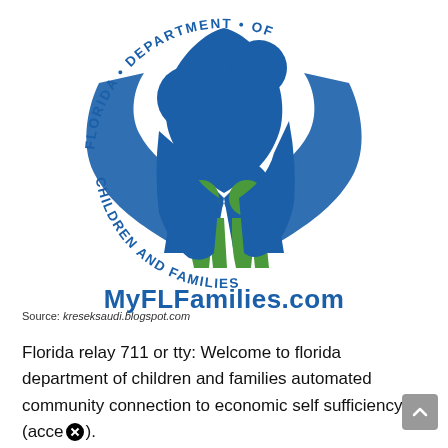[Figure (logo): Florida Department of Children and Families circular logo with stylized family figures in blue and green, text reading 'FLORIDA DEPARTMENT OF CHILDREN AND FAMILIES' around the circle, and 'MyFLFamilies.com' below]
Source: kreseksaudi.blogspot.com
Florida relay 711 or tty: Welcome to florida department of children and families automated community connection to economic self sufficiency (acce⛔).